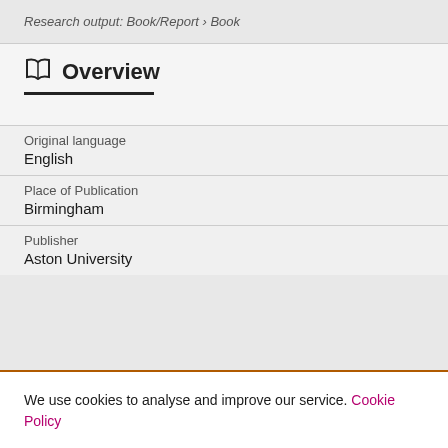Research output: Book/Report › Book
Overview
Original language
English
Place of Publication
Birmingham
Publisher
Aston University
We use cookies to analyse and improve our service. Cookie Policy